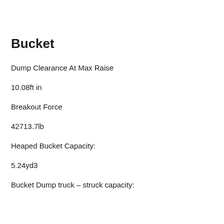Bucket
Dump Clearance At Max Raise
10.08ft in
Breakout Force
42713.7lb
Heaped Bucket Capacity:
5.24yd3
Bucket Dump truck – struck capacity: